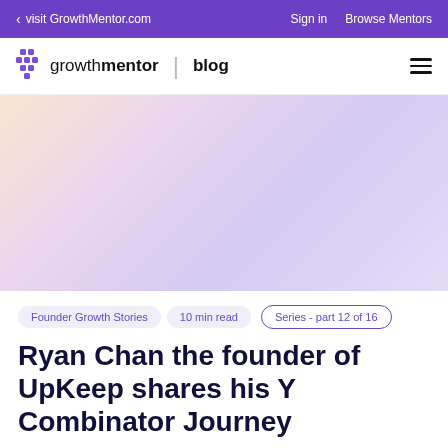< visit GrowthMentor.com   Sign in   Browse Mentors
[Figure (logo): GrowthMentor blog logo with purple icon and hamburger menu]
[Figure (illustration): Hero gradient background in peach, lavender, and light purple tones]
Founder Growth Stories
10 min read
Series - part 12 of 16
Ryan Chan the founder of UpKeep shares his Y Combinator Journey